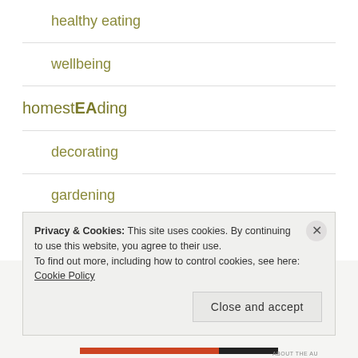healthy eating
wellbeing
homestEAding
decorating
gardening
managEAble
Privacy & Cookies: This site uses cookies. By continuing to use this website, you agree to their use. To find out more, including how to control cookies, see here: Cookie Policy
Close and accept